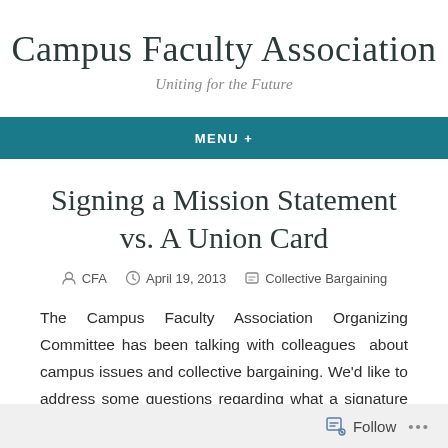Campus Faculty Association
Uniting for the Future
MENU +
Signing a Mission Statement vs. A Union Card
CFA  April 19, 2013  Collective Bargaining
The Campus Faculty Association Organizing Committee has been talking with colleagues  about campus issues and collective bargaining. We'd like to address some questions regarding what a signature on our Mission